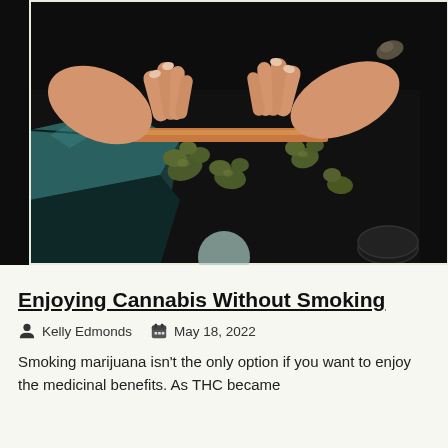[Figure (photo): Overhead view of hands rolling a cannabis cigarette on a dark surface, with cannabis buds scattered around and a teal/black mylar bag visible on the left side.]
Enjoying Cannabis Without Smoking
Kelly Edmonds   May 18, 2022
Smoking marijuana isn't the only option if you want to enjoy the medicinal benefits. As THC became...